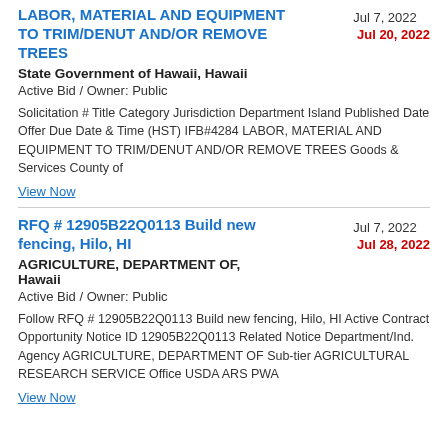LABOR, MATERIAL AND EQUIPMENT TO TRIM/DENUT AND/OR REMOVE TREES
Jul 7, 2022   Jul 20, 2022
State Government of Hawaii, Hawaii
Active Bid / Owner: Public
Solicitation # Title Category Jurisdiction Department Island Published Date Offer Due Date & Time (HST) IFB#4284 LABOR, MATERIAL AND EQUIPMENT TO TRIM/DENUT AND/OR REMOVE TREES Goods & Services County of
View Now
RFQ # 12905B22Q0113 Build new fencing, Hilo, HI
Jul 7, 2022   Jul 28, 2022
AGRICULTURE, DEPARTMENT OF, Hawaii
Active Bid / Owner: Public
Follow RFQ # 12905B22Q0113 Build new fencing, Hilo, HI Active Contract Opportunity Notice ID 12905B22Q0113 Related Notice Department/Ind. Agency AGRICULTURE, DEPARTMENT OF Sub-tier AGRICULTURAL RESEARCH SERVICE Office USDA ARS PWA
View Now